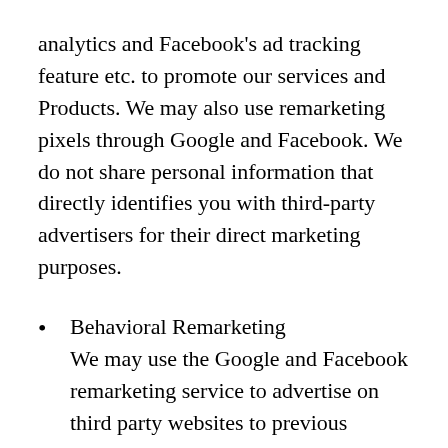analytics and Facebook's ad tracking feature etc. to promote our services and Products. We may also use remarketing pixels through Google and Facebook. We do not share personal information that directly identifies you with third-party advertisers for their direct marketing purposes.
Behavioral Remarketing We may use the Google and Facebook remarketing service to advertise on third party websites to previous visitors to our site. It could mean that